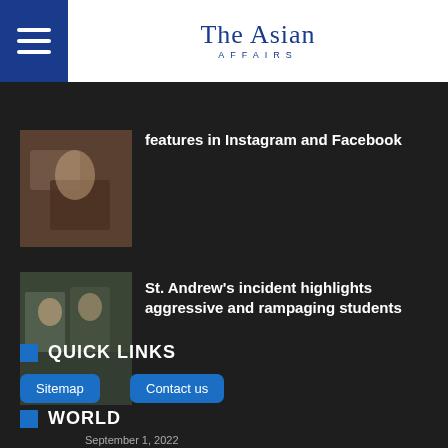The Asian Affairs
features in Instagram and Facebook
[Figure (photo): Hands holding a phone/device thumbnail]
St. Andrew's incident highlights aggressive and rampaging students
[Figure (photo): Students in a classroom thumbnail]
QUICK LINKS
Sitemap
Contact us
WORLD
September 1, 2022
Olivia Wilde buzzes about Harry Styles and Florence Pugh in 'Don't Worry Darling'